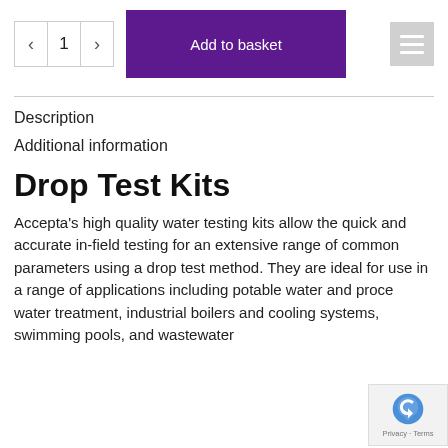[Figure (screenshot): Quantity selector with minus button, value '1', plus button; purple 'Add to basket' button; grey hamburger menu icon]
Description
Additional information
Drop Test Kits
Accepta's high quality water testing kits allow the quick and accurate in-field testing for an extensive range of common parameters using a drop test method. They are ideal for use in a range of applications including potable water and process water treatment, industrial boilers and cooling systems, swimming pools, and wastewater